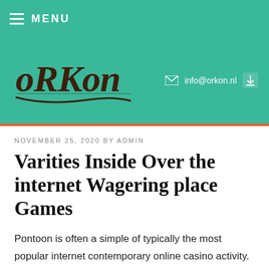MENU
[Figure (logo): Orkon company logo in dark brown stylized text on teal background, with email info@orkon.nl and download icon]
NOVEMBER 25, 2020 BY ADMIN
Varities Inside Over the internet Wagering place Games
Pontoon is often a simple of typically the most popular internet contemporary online casino activity. These 'strings'can incorporate using to guarantee these reward personal texas holdem